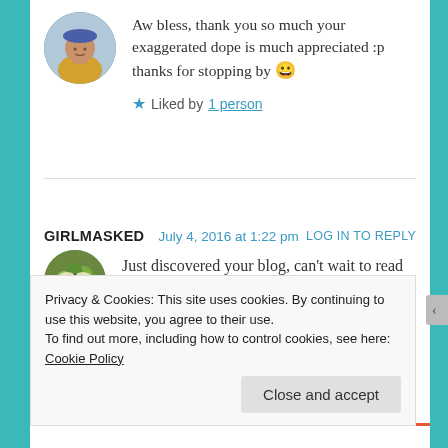Aw bless, thank you so much your exaggerated dope is much appreciated :p thanks for stopping by 😀
★ Liked by 1 person
GIRLMASKED   July 4, 2016 at 1:22 pm   LOG IN TO REPLY
Just discovered your blog, can't wait to read more of it!
★ Liked by 2 people
Privacy & Cookies: This site uses cookies. By continuing to use this website, you agree to their use.
To find out more, including how to control cookies, see here: Cookie Policy
Close and accept